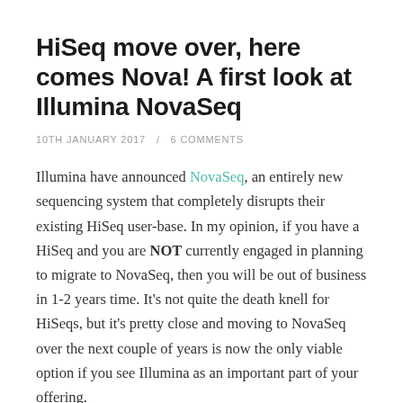HiSeq move over, here comes Nova! A first look at Illumina NovaSeq
10TH JANUARY 2017 / 6 COMMENTS
Illumina have announced NovaSeq, an entirely new sequencing system that completely disrupts their existing HiSeq user-base.  In my opinion, if you have a HiSeq and you are NOT currently engaged in planning to migrate to NovaSeq, then you will be out of business in 1-2 years time.  It's not quite the death knell for HiSeqs, but it's pretty close and moving to NovaSeq over the next couple of years is now the only viable option if you see Illumina as an important part of your offering.